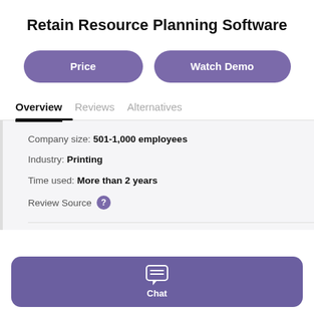Retain Resource Planning Software
Price
Watch Demo
Overview
Reviews
Alternatives
Company size: 501-1,000 employees
Industry: Printing
Time used: More than 2 years
Review Source ?
Chat